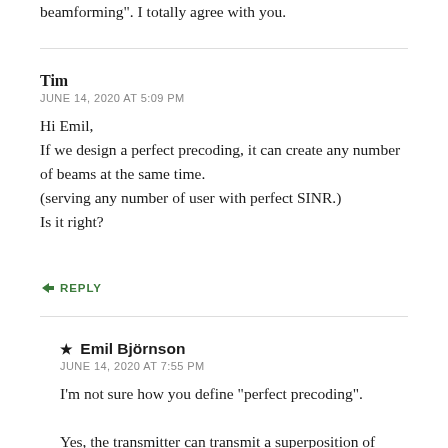beamforming". I totally agree with you.
Tim
JUNE 14, 2020 AT 5:09 PM
Hi Emil,
If we design a perfect precoding, it can create any number of beams at the same time.
(serving any number of user with perfect SINR.)
Is it right?
↳ REPLY
★ Emil Björnson
JUNE 14, 2020 AT 7:55 PM
I'm not sure how you define “perfect precoding”.
Yes, the transmitter can transmit a superposition of